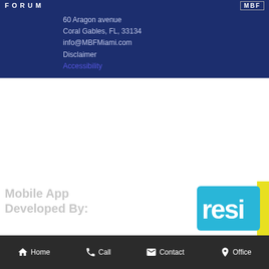FORUM   MBF
60 Aragon avenue
Coral Gables, FL, 33134
info@MBFMiami.com
Disclaimer
Accessibility
[Figure (logo): RESI logo — blue stylized text with yellow vertical bar on right side]
Mobile App
Developed By:
Home   Call   Contact   Office